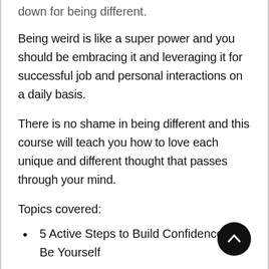down for being different.
Being weird is like a super power and you should be embracing it and leveraging it for successful job and personal interactions on a daily basis.
There is no shame in being different and this course will teach you how to love each unique and different thought that passes through your mind.
Topics covered:
5 Active Steps to Build Confidence and Be Yourself
5 Tasks to Help You Understand Your Weirdness